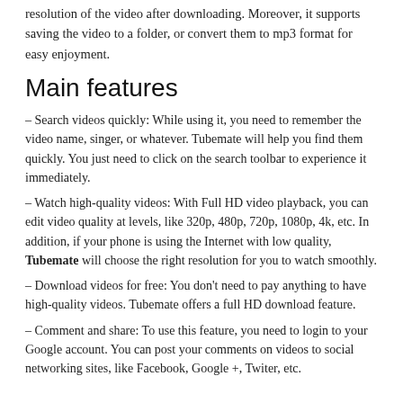resolution of the video after downloading. Moreover, it supports saving the video to a folder, or convert them to mp3 format for easy enjoyment.
Main features
– Search videos quickly: While using it, you need to remember the video name, singer, or whatever. Tubemate will help you find them quickly. You just need to click on the search toolbar to experience it immediately.
– Watch high-quality videos: With Full HD video playback, you can edit video quality at levels, like 320p, 480p, 720p, 1080p, 4k, etc. In addition, if your phone is using the Internet with low quality, Tubemate will choose the right resolution for you to watch smoothly.
– Download videos for free: You don't need to pay anything to have high-quality videos. Tubemate offers a full HD download feature.
– Comment and share: To use this feature, you need to login to your Google account. You can post your comments on videos to social networking sites, like Facebook, Google +, Twiter, etc.